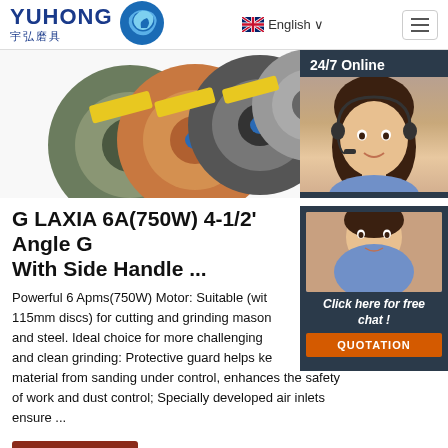YUHONG 宇弘磨具 — English
[Figure (photo): Grinding wheels/discs photo with multiple colorful abrasive discs stacked together, and a customer service agent sidebar showing '24/7 Online']
G LAXIA 6A(750W) 4-1/2' Angle G With Side Handle ...
Powerful 6 Apms(750W) Motor: Suitable (with 115mm discs) for cutting and grinding masonry and steel. Ideal choice for more challenging and clean grinding: Protective guard helps keep material from sanding under control, enhances the safety of work and dust control; Specially developed air inlets ensure ...
Click here for free chat !
QUOTATION
Get Price
TOP